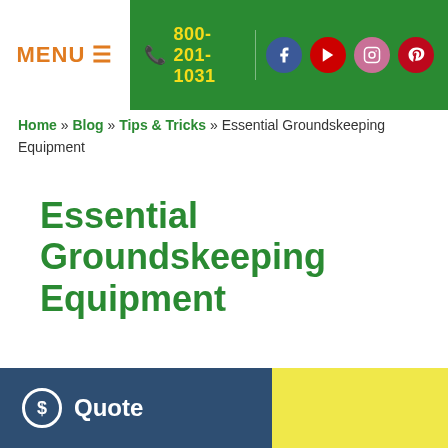MENU ≡ | 800-201-1031 | Facebook | YouTube | Instagram | Pinterest
Home » Blog » Tips & Tricks » Essential Groundskeeping Equipment
Essential Groundskeeping Equipment
$ Quote